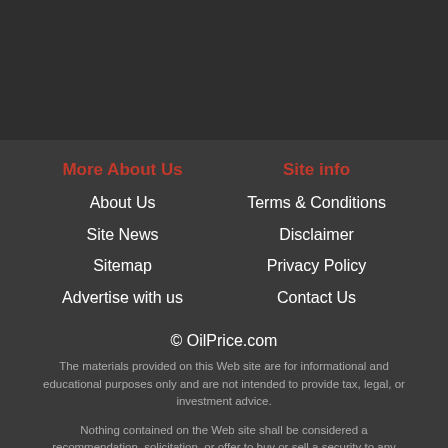More About Us
About Us
Site News
Sitemap
Advertise with us
Site info
Terms & Conditions
Disclaimer
Privacy Policy
Contact Us
© OilPrice.com
The materials provided on this Web site are for informational and educational purposes only and are not intended to provide tax, legal, or investment advice.
Nothing contained on the Web site shall be considered a recommendation, solicitation, or offer to buy or sell a security to any person in any jurisdiction.
Trading and investing carries a high risk of losing money rapidly